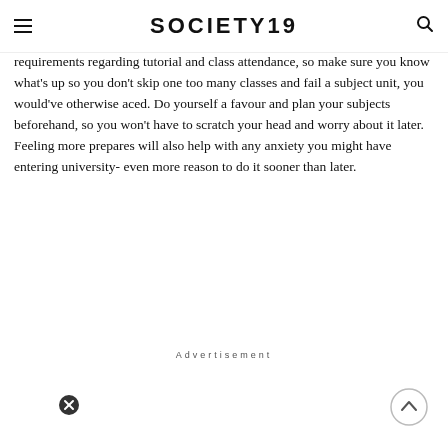SOCIETY19
requirements regarding tutorial and class attendance, so make sure you know what's up so you don't skip one too many classes and fail a subject unit, you would've otherwise aced. Do yourself a favour and plan your subjects beforehand, so you won't have to scratch your head and worry about it later. Feeling more prepares will also help with any anxiety you might have entering university- even more reason to do it sooner than later.
Advertisement